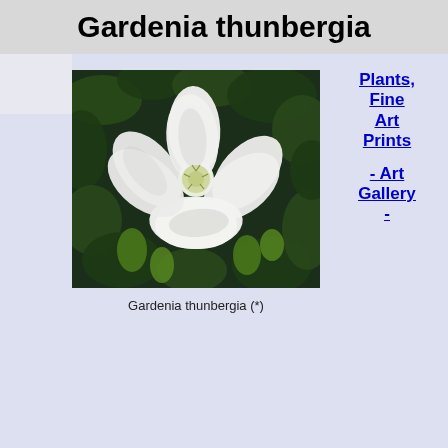Gardenia thunbergia
[Figure (photo): Close-up photo of a white Gardenia thunbergia flower with multiple elongated petals and a yellow-green center, set against dark green foliage background.]
Gardenia thunbergia (*)
Plants, Fine Art Prints - Art Gallery -